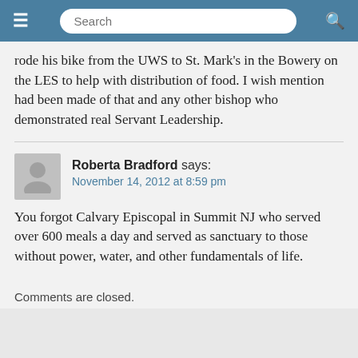Search
rode his bike from the UWS to St. Mark's in the Bowery on the LES to help with distribution of food. I wish mention had been made of that and any other bishop who demonstrated real Servant Leadership.
Roberta Bradford says: November 14, 2012 at 8:59 pm
You forgot Calvary Episcopal in Summit NJ who served over 600 meals a day and served as sanctuary to those without power, water, and other fundamentals of life.
Comments are closed.